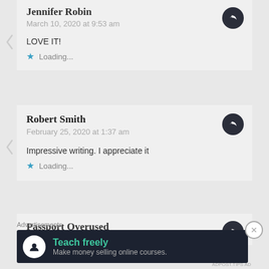Jennifer Robin
March 10, 2020 at 9:53 am
LOVE IT!
Loading...
Robert Smith
February 25, 2020 at 1:37 am
Impressive writing. I appreciate it
Loading...
Passport Overused
Advertisements
Teach freely
Make money selling online courses.